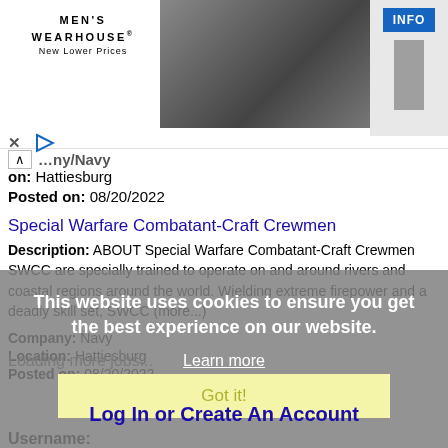[Figure (screenshot): Men's Wearhouse advertisement banner with logo, couple in formal wear, and INFO button]
on: Hattiesburg
Posted on: 08/20/2022
Special Warfare Combatant-Craft Crewmen
Description: ABOUT Special Warfare Combatant-Craft Crewmen SWCC are specially trained to operate on and around rivers and coastal regions around the world. Wielding extreme firepower and a deadly skill set, SWCC (more...)
Company: Navy
Location: Hattiesburg
Posted on: 08/20/2022
This website uses cookies to ensure you get the best experience on our website.
Learn more
Loading more jobs...
Got it!
Log In or Create An Account
Username: